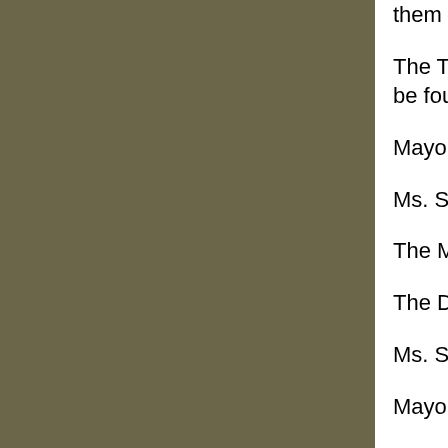them that as long as the area was mowed once or tw
The TAB checked into this and found a fairly inexper throughout the season and is very easy to maintain. can be found here.
Mayor McFadden wondered who would maintain the
Ms. Steele responded that once it had been establish the Village would be doing anyway.
The Mayor then wondered if this would alter the bud
The Deputy Mayor responded that he did not think it wondered, however, whether the Engineers and/or th
Ms. Steele reiterated that the engineer had told her t any issue.
Mayor McFadden commented that if they encountere would let Ms. Steele know.  His recommendation wa
Ms. Steele wondered whether or not they might be a #3 dam.
The Deputy Mayor wanted to know whether TAB wa
Ms. Steele responded that it would depend on how